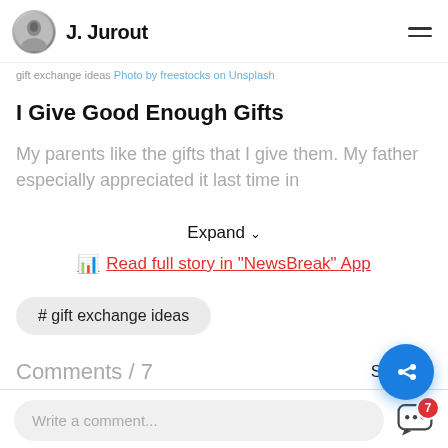J. Jurout
gift exchange ideas Photo by freestocks on Unsplash
I Give Good Enough Gifts
My parents like the gifts that I give them. My father especially appreciated it last time...
Expand
Read full story in "NewsBreak" App
# gift exchange ideas
Comments / 7
See all >
Write a comment...